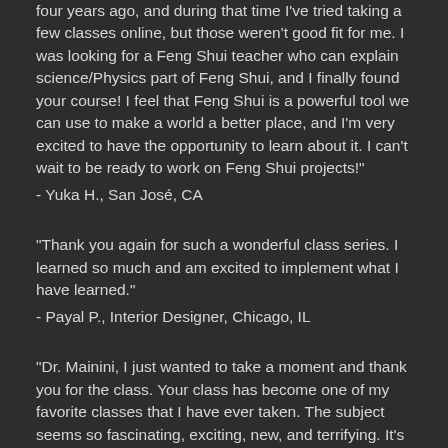four years ago, and during that time I've tried taking a few classes online, but those weren't good fit for me. I was looking for a Feng Shui teacher who can explain science/Physics part of Feng Shui, and I finally found your course! I feel that Feng Shui is a powerful tool we can use to make a world a better place, and I'm very excited to have the opportunity to learn about it. I can't wait to be ready to work on Feng Shui projects!"
- Yuka H., San José, CA
"Thank you again for such a wonderful class series. I learned so much and am excited to implement what I have learned."
- Payal P., Interior Designer, Chicago, IL
"Dr. Mainini, I just wanted to take a moment and thank you for the class. Your class has become one of my favorite classes that I have ever taken. The subject seems so fascinating, exciting, new, and terrifying. It's making me want to continue learning more about the